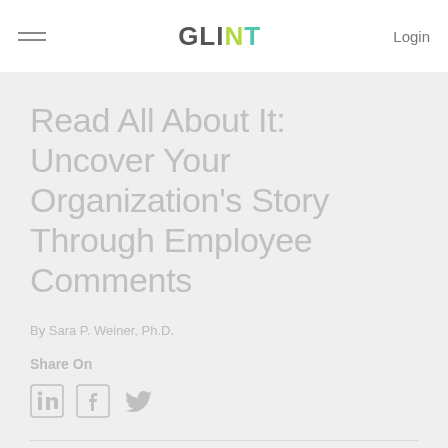GLINT | Login
Read All About It: Uncover Your Organization's Story Through Employee Comments
By Sara P. Weiner, Ph.D.
Share On
[Figure (other): Social sharing icons: LinkedIn, Facebook, Twitter]